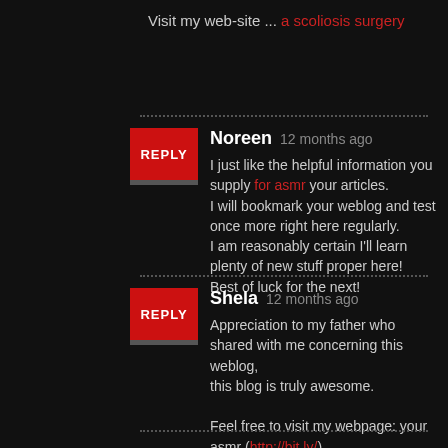Visit my web-site ... a scoliosis surgery
Noreen  12 months ago
I just like the helpful information you supply for asmr your articles.
I will bookmark your weblog and test once more right here regularly.
I am reasonably certain I'll learn plenty of new stuff proper here!
Best of luck for the next!
Shela  12 months ago
Appreciation to my father who shared with me concerning this weblog,
this blog is truly awesome.

Feel free to visit my webpage: your asmr (http://bit.ly/)